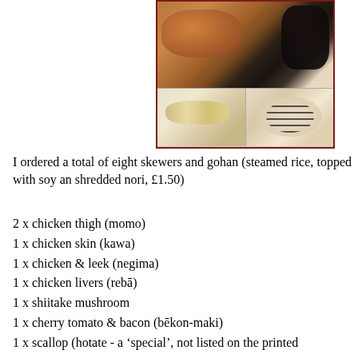[Figure (photo): Collage of three food photos: top image shows grilled skewers on a white plate with various meats and vegetables, right portion shows dark grilled mushrooms; bottom-left shows scallops on a skewer; bottom-right shows steamed rice topped with shredded nori seaweed]
I ordered a total of eight skewers and gohan (steamed rice, topped with soy an shredded nori, £1.50)
2 x chicken thigh (momo)
1 x chicken skin (kawa)
1 x chicken & leek (negima)
1 x chicken livers (rebā)
1 x shiitake mushroom
1 x cherry tomato & bacon (bēkon-maki)
1 x scallop (hotate - a 'special', not listed on the printed